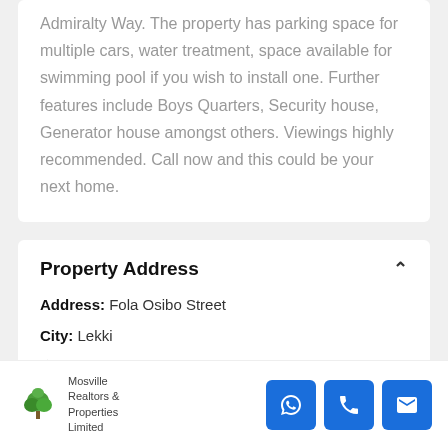Admiralty Way. The property has parking space for multiple cars, water treatment, space available for swimming pool if you wish to install one. Further features include Boys Quarters, Security house, Generator house amongst others. Viewings highly recommended. Call now and this could be your next home.
Property Address
Address: Fola Osibo Street
City: Lekki
Mosville Realtors & Properties Limited